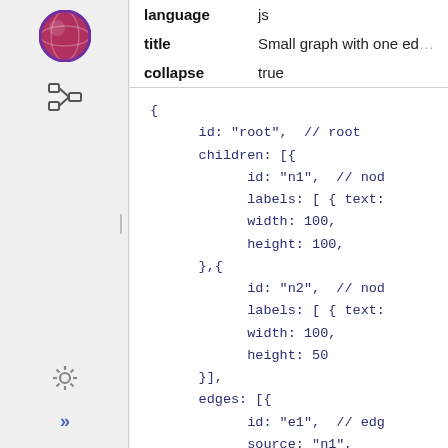[Figure (screenshot): Sidebar with globe icon, tree/hierarchy icon, gear icon, and double-arrow icon]
| key | value |
| --- | --- |
| language | js |
| title | Small graph with one ed... |
| collapse | true |
{
        id: "root",  // root
        children: [{
              id: "n1",  // nod
              labels: [ { text:
              width: 100,
              height: 100,
        },{
              id: "n2",  // nod
              labels: [ { text:
              width: 100,
              height: 50
        }],
        edges: [{
              id: "e1",  // edg
              source: "n1",
              target: "n2"
        }]
}